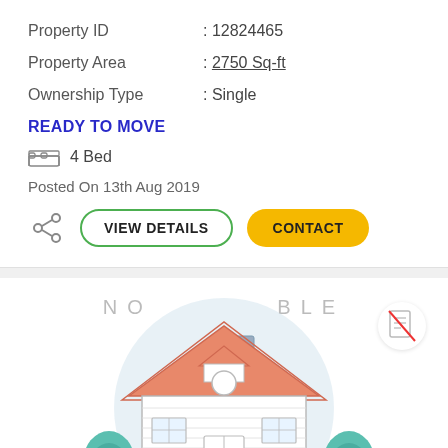Property ID : 12824465
Property Area : 2750 Sq-ft
Ownership Type : Single
READY TO MOVE
4 Bed
Posted On 13th Aug 2019
[Figure (illustration): Property listing card with VIEW DETAILS and CONTACT buttons, share icon, and a house illustration below with NO AVAILABLE watermark overlay and a no-document icon]
[Figure (illustration): Illustrated house with salmon/pink roof, white siding, teal trees on either side, grey background circle, partial view of the lower portion of the card]